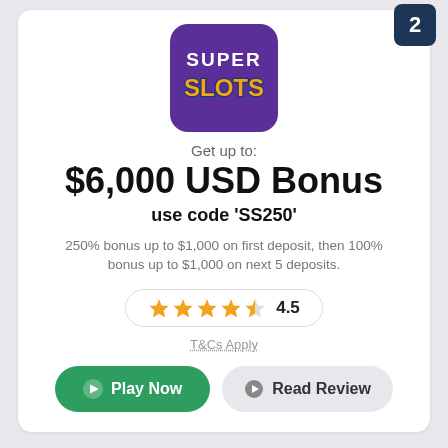[Figure (logo): Super Slots casino logo — purple rounded square with SUPER SLOTS text]
Get up to:
$6,000 USD Bonus
use code 'SS250'
250% bonus up to $1,000 on first deposit, then 100% bonus up to $1,000 on next 5 deposits.
4.5 stars
T&Cs Apply
Play Now
Read Review
[Figure (logo): Bovada or similar casino logo — black rounded square with red stylized B letter]